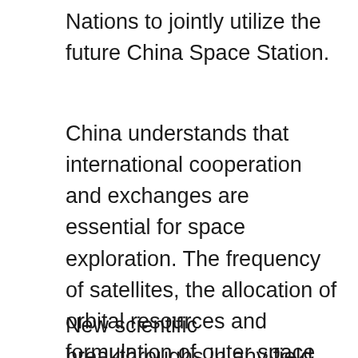Nations to jointly utilize the future China Space Station.
China understands that international cooperation and exchanges are essential for space exploration. The frequency of satellites, the allocation of orbital resources and formulation of outer space traffic rules need to be consulted by participating countries. A zero-sum mindset would not work on Earth, nor will it work in space.
New scientific breakthroughs in any field should be celebrated with high respect, as scientists are breaking the limits of human knowledge. It takes extremely hard work and in-depth cooperation between different countries, especially when dealing